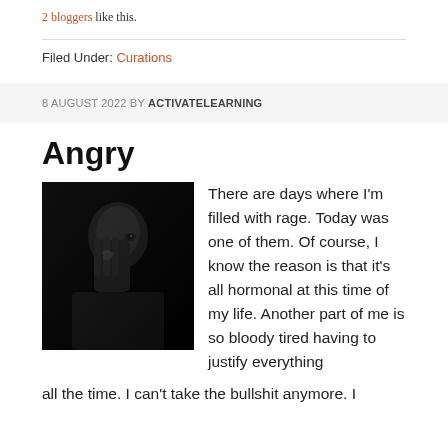2 bloggers like this.
Filed Under: Curations
8 AUGUST 2022 BY ACTIVATELEARNING
Angry
[Figure (photo): Black and white photo of a person covering their face with their hand, partially visible in dark lighting]
There are days where I'm filled with rage. Today was one of them. Of course, I know the reason is that it's all hormonal at this time of my life. Another part of me is so bloody tired having to justify everything all the time. I can't take the bullshit anymore. I